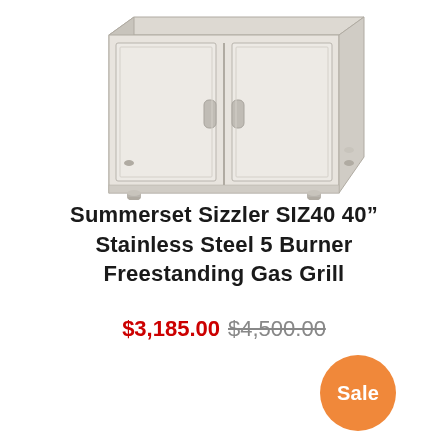[Figure (photo): Stainless steel outdoor cabinet/grill base with two doors and handles, shown from a slightly elevated angle, light gray/silver finish with small feet at the bottom.]
Summerset Sizzler SIZ40 40" Stainless Steel 5 Burner Freestanding Gas Grill
$3,185.00 $4,500.00
Sale